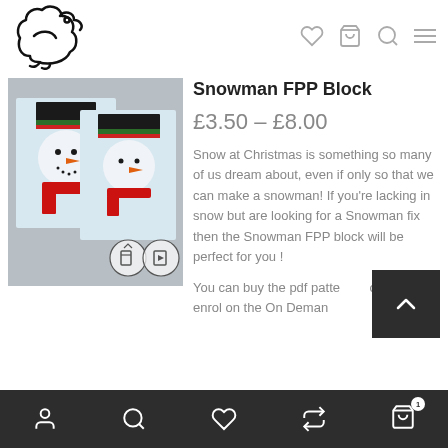[Figure (logo): Duck/bird logo outline in black]
[Figure (photo): Two snowman FPP quilt blocks on grey background, wearing black hats, orange carrot noses, red scarves]
Snowman FPP Block
£3.50 – £8.00
Snow at Christmas is something so many of us dream about, even if only so that we can make a snowman! If you're lacking in snow but are looking for a Snowman fix then the Snowman FPP block will be perfect for you !
You can buy the pdf patte own or enrol on the On Deman
Account | Search | Wishlist | Compare | Cart (1)